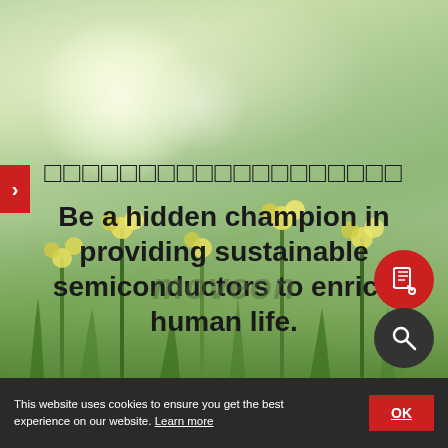[Figure (screenshot): Hero banner with green bokeh/nature background showing flowers and foliage. Contains Thai script text and English tagline. Navigation arrow on left. Icon buttons (book and search) on lower right.]
Be a hidden champion in providing sustainable semiconductors to enrich human life.
This website uses cookies to ensure you get the best experience on our website. Learn more